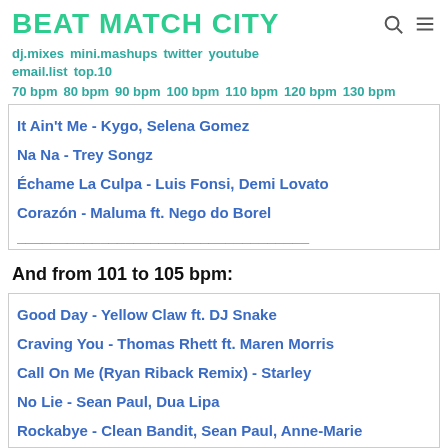BEAT MATCH CITY
dj.mixes mini.mashups twitter youtube email.list top.10
70 bpm 80 bpm 90 bpm 100 bpm 110 bpm 120 bpm 130 bpm
It Ain't Me - Kygo, Selena Gomez
Na Na - Trey Songz
Échame La Culpa - Luis Fonsi, Demi Lovato
Corazón - Maluma ft. Nego do Borel
And from 101 to 105 bpm:
Good Day - Yellow Claw ft. DJ Snake
Craving You - Thomas Rhett ft. Maren Morris
Call On Me (Ryan Riback Remix) - Starley
No Lie - Sean Paul, Dua Lipa
Rockabye - Clean Bandit, Sean Paul, Anne-Marie